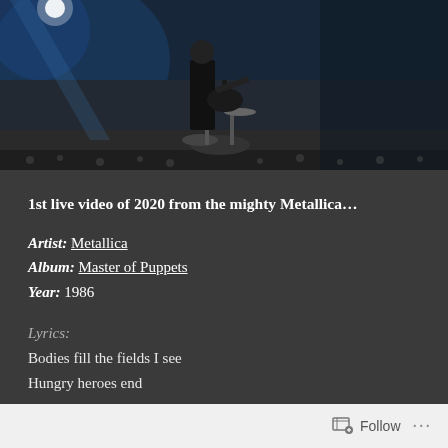[Figure (photo): Concert photo showing a guitarist performing on stage with blue stage lighting and crowd visible in background, drums visible, dark arena setting]
1st live video of 2020 from the mighty Metallica…
Artist: Metallica
Album: Master of Puppets
Year: 1986
Lyrics:
Bodies fill the fields I see
Hungry heroes end
No one to play soldier now
No one to pretend
Running blind through killing fields